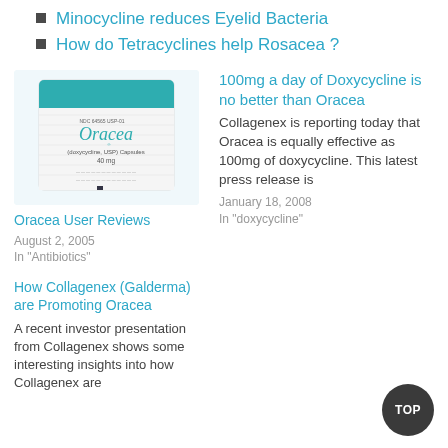Minocycline reduces Eyelid Bacteria
How do Tetracyclines help Rosacea ?
[Figure (photo): Photo of Oracea (doxycycline USP) Capsules 40mg box]
Oracea User Reviews
August 2, 2005
In "Antibiotics"
100mg a day of Doxycycline is no better than Oracea
Collagenex is reporting today that Oracea is equally effective as 100mg of doxycycline. This latest press release is
January 18, 2008
In "doxycycline"
How Collagenex (Galderma) are Promoting Oracea
A recent investor presentation from Collagenex shows some interesting insights into how Collagenex are